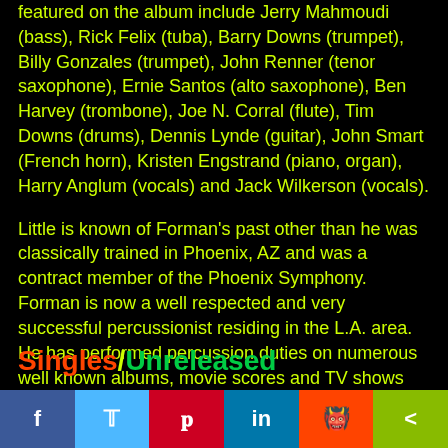featured on the album include Jerry Mahmoudi (bass), Rick Felix (tuba), Barry Downs (trumpet), Billy Gonzales (trumpet), John Renner (tenor saxophone), Ernie Santos (alto saxophone), Ben Harvey (trombone), Joe N. Corral (flute), Tim Downs (drums), Dennis Lynde (guitar), John Smart (French horn), Kristen Engstrand (piano, organ), Harry Anglum (vocals) and Jack Wilkerson (vocals).
Little is known of Forman's past other than he was classically trained in Phoenix, AZ and was a contract member of the Phoenix Symphony. Forman is now a well respected and very successful percussionist residing in the L.A. area. He has performed percussion duties on numerous well known albums, movie scores and TV shows and owns and operates Tambourine Studio in Highland Park, CA.
Singles/Unreleased
[Figure (other): Social media sharing bar with buttons for Facebook, Twitter, Pinterest, LinkedIn, Reddit, and Share]